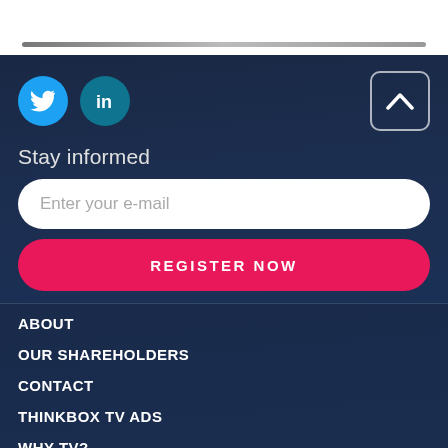[Figure (other): Decorative horizontal divider line at top of page]
[Figure (other): Social media icons: Twitter (blue circle) and LinkedIn (teal circle), and an up-arrow button]
Stay informed
Enter your e-mail
REGISTER NOW
ABOUT
OUR SHAREHOLDERS
CONTACT
THINKBOX TV ADS
WHY TV?
GETTING ON TV
HOW TO USE TV